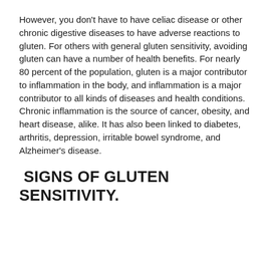However, you don't have to have celiac disease or other chronic digestive diseases to have adverse reactions to gluten. For others with general gluten sensitivity, avoiding gluten can have a number of health benefits. For nearly 80 percent of the population, gluten is a major contributor to inflammation in the body, and inflammation is a major contributor to all kinds of diseases and health conditions. Chronic inflammation is the source of cancer, obesity, and heart disease, alike. It has also been linked to diabetes, arthritis, depression, irritable bowel syndrome, and Alzheimer's disease.
SIGNS OF GLUTEN SENSITIVITY.